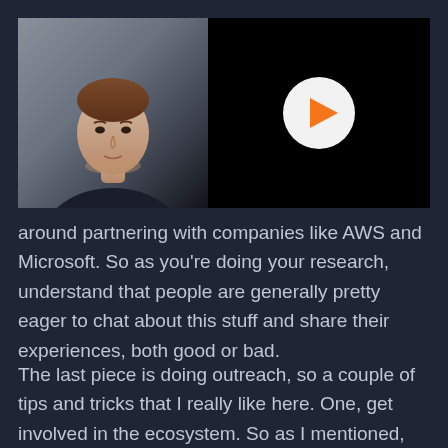[Figure (screenshot): Video player thumbnail showing a man in a dark jacket on the left half with a grey background, and a black right half with a white circular play button containing an orange triangle arrow in the center.]
around partnering with companies like AWS and Microsoft. So as you're doing your research, understand that people are generally pretty eager to chat about this stuff and share their experiences, both good or bad.
The last piece is doing outreach, so a couple of tips and tricks that I really like here. One, get involved in the ecosystem. So as I mentioned, talking to organizations that partner with similar